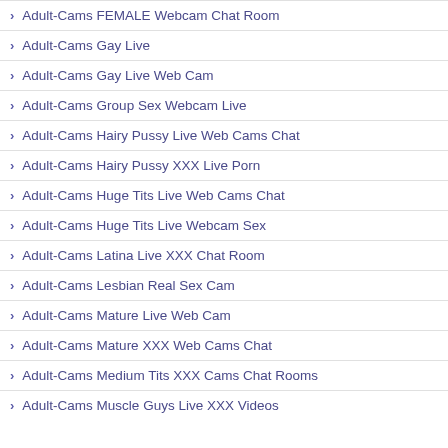Adult-Cams FEMALE Webcam Chat Room
Adult-Cams Gay Live
Adult-Cams Gay Live Web Cam
Adult-Cams Group Sex Webcam Live
Adult-Cams Hairy Pussy Live Web Cams Chat
Adult-Cams Hairy Pussy XXX Live Porn
Adult-Cams Huge Tits Live Web Cams Chat
Adult-Cams Huge Tits Live Webcam Sex
Adult-Cams Latina Live XXX Chat Room
Adult-Cams Lesbian Real Sex Cam
Adult-Cams Mature Live Web Cam
Adult-Cams Mature XXX Web Cams Chat
Adult-Cams Medium Tits XXX Cams Chat Rooms
Adult-Cams Muscle Guys Live XXX Videos